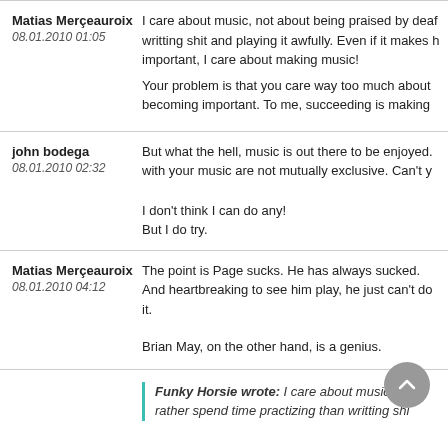Matias Merçeauroix
08.01.2010 01:05
I care about music, not about being praised by deaf writting shit and playing it awfully. Even if it makes h important, I care about making music!
Your problem is that you care way too much about becoming important. To me, succeeding is making
john bodega
08.01.2010 02:32
But what the hell, music is out there to be enjoyed. with your music are not mutually exclusive. Can't y
I don't think I can do any!
But I do try.
Matias Merçeauroix
08.01.2010 04:12
The point is Page sucks. He has always sucked. And heartbreaking to see him play, he just can't do it.
Brian May, on the other hand, is a genius.
Funky Horsie wrote: I care about music, not a rather spend time practizing than writting shi